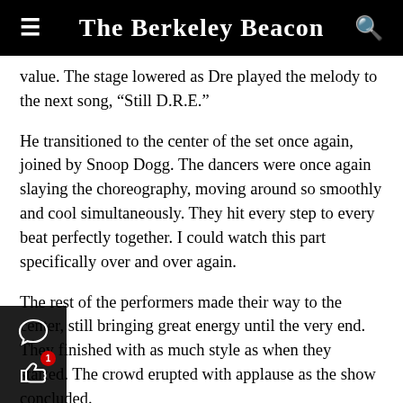The Berkeley Beacon
value. The stage lowered as Dre played the melody to the next song, “Still D.R.E.”
He transitioned to the center of the set once again, joined by Snoop Dogg. The dancers were once again slaying the choreography, moving around so smoothly and cool simultaneously. They hit every step to every beat perfectly together. I could watch this part specifically over and over again.
The rest of the performers made their way to the center, still bringing great energy until the very end. They finished with as much style as when they started. The crowd erupted with applause as the show concluded.
...hroughly entertained and decently satisfied, that was my ...of Super Bowl LVI, which immediately got turned off ...tt... in time for “Euphoria.”